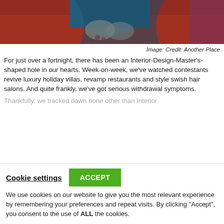[Figure (photo): Partial photo of a person in a teal/dark blue dress sitting on a red leather sofa, cropped at the torso/legs level.]
Image: Credit: Another Place
For just over a fortnight, there has been an Interior-Design-Master's-shaped hole in our hearts. Week-on-week, we've watched contestants revive luxury holiday villas, revamp restaurants and style swish hair salons. And quite frankly, we've got serious withdrawal symptoms.
Thankfully, we tracked down none other than Interior
Cookie settings   ACCEPT
We use cookies on our website to give you the most relevant experience by remembering your preferences and repeat visits. By clicking "Accept", you consent to the use of ALL the cookies.